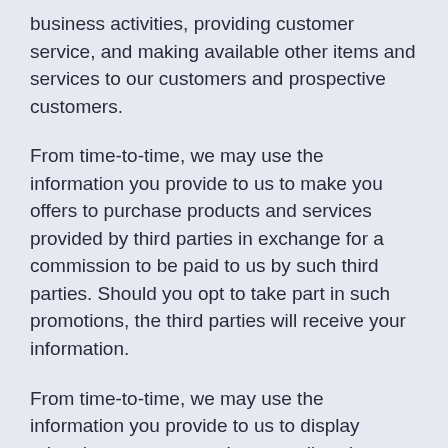business activities, providing customer service, and making available other items and services to our customers and prospective customers.
From time-to-time, we may use the information you provide to us to make you offers to purchase products and services provided by third parties in exchange for a commission to be paid to us by such third parties. Should you opt to take part in such promotions, the third parties will receive your information.
From time-to-time, we may use the information you provide to us to display advertisements to you that are tailored to your personal characteristics, interests, and activities.